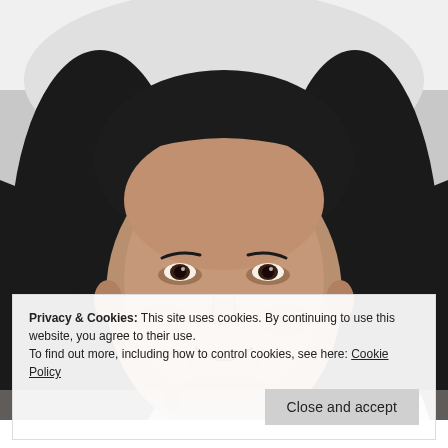[Figure (photo): Black and white portrait photo of a smiling young woman with long dark hair, facing the camera against a light grey background.]
Privacy & Cookies: This site uses cookies. By continuing to use this website, you agree to their use.
To find out more, including how to control cookies, see here: Cookie Policy
Close and accept